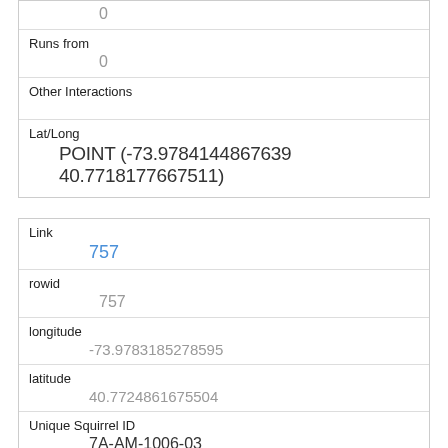| Runs from | 0 |
| Other Interactions |  |
| Lat/Long | POINT (-73.9784144867639 40.7718177667511) |
| Link | 757 |
| rowid | 757 |
| longitude | -73.9783185278595 |
| latitude | 40.7724861675504 |
| Unique Squirrel ID | 7A-AM-1006-03 |
| Hectare | 07A |
| Shift |  |